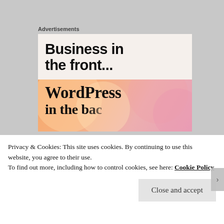Advertisements
[Figure (illustration): WordPress advertisement banner: top half shows 'Business in the front...' in bold sans-serif on light beige background; bottom half shows 'WordPress' in bold serif on orange/pink gradient background with overlapping circles, partially cut off at bottom showing start of next line.]
Job growth in the next decade is expected to
Privacy & Cookies: This site uses cookies. By continuing to use this website, you agree to their use.
To find out more, including how to control cookies, see here: Cookie Policy
Close and accept